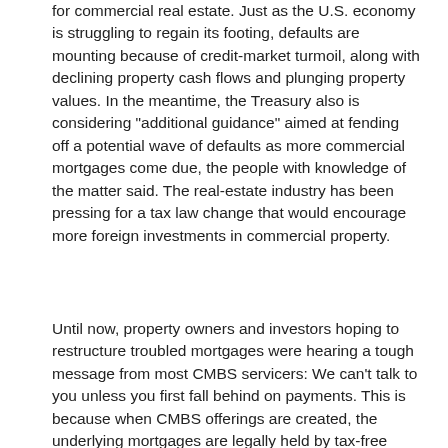for commercial real estate. Just as the U.S. economy is struggling to regain its footing, defaults are mounting because of credit-market turmoil, along with declining property cash flows and plunging property values. In the meantime, the Treasury also is considering "additional guidance" aimed at fending off a potential wave of defaults as more commercial mortgages come due, the people with knowledge of the matter said. The real-estate industry has been pressing for a tax law change that would encourage more foreign investments in commercial property.
Until now, property owners and investors hoping to restructure troubled mortgages were hearing a tough message from most CMBS servicers: We can't talk to you unless you first fall behind on payments. This is because when CMBS offerings are created, the underlying mortgages are legally held by tax-free trusts. The trusts could have been forced to pay taxes if the underlying loans were modified before they became delinquent,